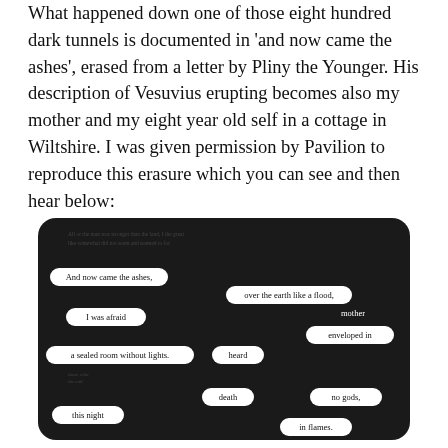What happened down one of those eight hundred dark tunnels is documented in 'and now came the ashes', erased from a letter by Pliny the Younger. His description of Vesuvius erupting becomes also my mother and my eight year old self in a cottage in Wiltshire. I was given permission by Pavilion to reproduce this erasure which you can see and then hear below:
[Figure (illustration): A blackout/erasure poetry piece on a dark background. White oval-shaped highlight bubbles reveal selected words from an underlying text, forming a poem: 'And now came the ashes, over the earth like a flood, mother I was afraid enveloped in a sealed room without lights. heard death no gods, this night in flames.']